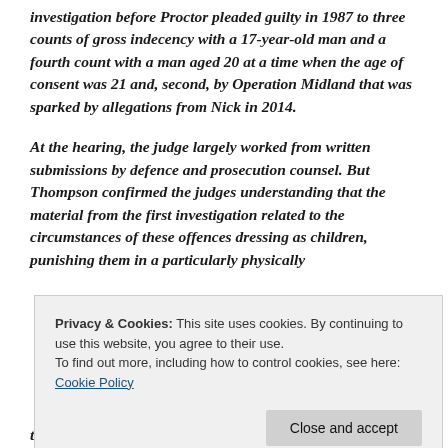investigation before Proctor pleaded guilty in 1987 to three counts of gross indecency with a 17-year-old man and a fourth count with a man aged 20 at a time when the age of consent was 21 and, second, by Operation Midland that was sparked by allegations from Nick in 2014.
At the hearing, the judge largely worked from written submissions by defence and prosecution counsel. But Thompson confirmed the judges understanding that the material from the first investigation related to the circumstances of these offences dressing as children, punishing them in a particularly physically
Privacy & Cookies: This site uses cookies. By continuing to use this website, you agree to their use.
To find out more, including how to control cookies, see here: Cookie Policy
told the court, there were four other witnesses